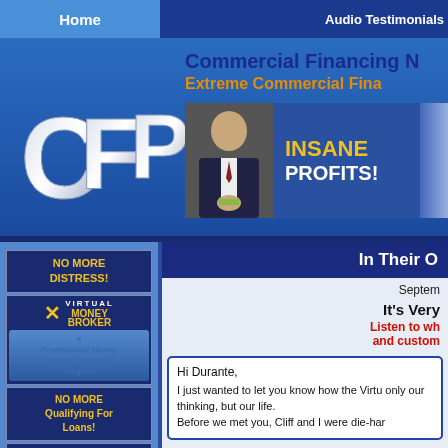Home | Audio Testimonials
Commercial Financing N
Extreme Commercial Fina
[Figure (logo): CFP logo - large gray metallic letters CFP on blue background]
[Figure (photo): Man in suit holding money with INSANE PROFITS! text]
In Their O
Septem
It's Very
Listen to wh and custom
[Figure (logo): NO MORE DISTRESS! banner]
[Figure (logo): Virtual MoneyBroker logo and Professional Money Broker Training Program]
[Figure (logo): NO MORE Qualifying For Loans! banner]
[Figure (logo): Virtual MoneyBroker bottom logo]
It's Pretty Easy To Earn A Six
Hi Durante,
I just wanted to let you know how the Virtu only our thinking, but our life. Before we met you, Cliff and I were die-har